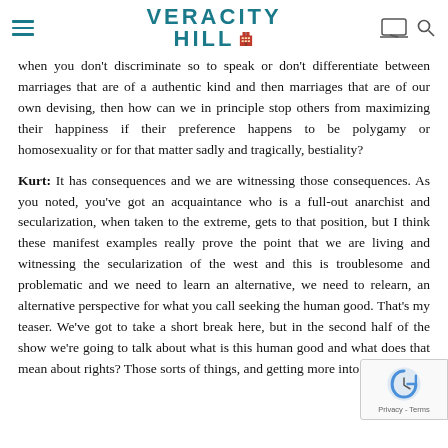Veracity Hill
when you don't discriminate so to speak or don't differentiate between marriages that are of a authentic kind and then marriages that are of our own devising, then how can we in principle stop others from maximizing their happiness if their preference happens to be polygamy or homosexuality or for that matter sadly and tragically, bestiality?
Kurt: It has consequences and we are witnessing those consequences. As you noted, you've got an acquaintance who is a full-out anarchist and secularization, when taken to the extreme, gets to that position, but I think these manifest examples really prove the point that we are living and witnessing the secularization of the west and this is troublesome and problematic and we need to learn an alternative, we need to relearn, an alternative perspective for what you call seeking the human good. That's my teaser. We've got to take a short break here, but in the second half of the show we're going to talk about what is this human good and what does that mean about rights? Those sorts of things, and getting more into